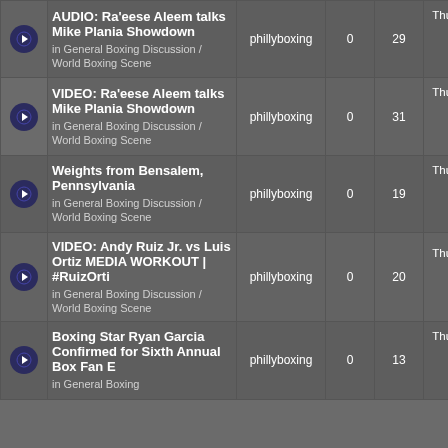|  |  | Title | Author | Replies | Views | Last Post |
| --- | --- | --- | --- | --- | --- | --- |
|  |  | AUDIO: Ra'eese Aleem talks Mike Plania Showdown
in General Boxing Discussion / World Boxing Scene | phillyboxing | 0 | 29 | Thu Sep 01, 2022 1:16 pm phillyboxing |
|  |  | VIDEO: Ra'eese Aleem talks Mike Plania Showdown
in General Boxing Discussion / World Boxing Scene | phillyboxing | 0 | 31 | Thu Sep 01, 2022 1:02 pm phillyboxing |
|  |  | Weights from Bensalem, Pennsylvania
in General Boxing Discussion / World Boxing Scene | phillyboxing | 0 | 19 | Thu Sep 01, 2022 12:34 pm phillyboxing |
|  |  | VIDEO: Andy Ruiz Jr. vs Luis Ortiz MEDIA WORKOUT | #RuizOrti
in General Boxing Discussion / World Boxing Scene | phillyboxing | 0 | 20 | Thu Sep 01, 2022 12:17 pm phillyboxing |
|  |  | Boxing Star Ryan Garcia Confirmed for Sixth Annual Box Fan E
in General Boxing | phillyboxing | 0 | 13 | Thu Sep 01, 2022 11:50 am phillyboxing |